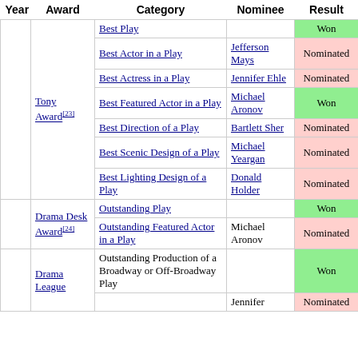| Year | Award | Category | Nominee | Result |
| --- | --- | --- | --- | --- |
|  | Tony Award[23] | Best Play |  | Won |
|  | Tony Award[23] | Best Actor in a Play | Jefferson Mays | Nominated |
|  | Tony Award[23] | Best Actress in a Play | Jennifer Ehle | Nominated |
|  | Tony Award[23] | Best Featured Actor in a Play | Michael Aronov | Won |
|  | Tony Award[23] | Best Direction of a Play | Bartlett Sher | Nominated |
|  | Tony Award[23] | Best Scenic Design of a Play | Michael Yeargan | Nominated |
|  | Tony Award[23] | Best Lighting Design of a Play | Donald Holder | Nominated |
|  | Drama Desk Award[24] | Outstanding Play |  | Won |
|  | Drama Desk Award[24] | Outstanding Featured Actor in a Play | Michael Aronov | Nominated |
|  | Drama League | Outstanding Production of a Broadway or Off-Broadway Play |  | Won |
|  | Drama League |  | Jennifer | Nominated |